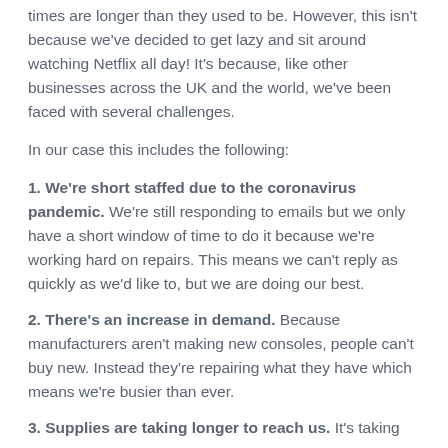times are longer than they used to be. However, this isn't because we've decided to get lazy and sit around watching Netflix all day! It's because, like other businesses across the UK and the world, we've been faced with several challenges.
In our case this includes the following:
1. We're short staffed due to the coronavirus pandemic. We're still responding to emails but we only have a short window of time to do it because we're working hard on repairs. This means we can't reply as quickly as we'd like to, but we are doing our best.
2. There's an increase in demand. Because manufacturers aren't making new consoles, people can't buy new. Instead they're repairing what they have which means we're busier than ever.
3. Supplies are taking longer to reach us. It's taking